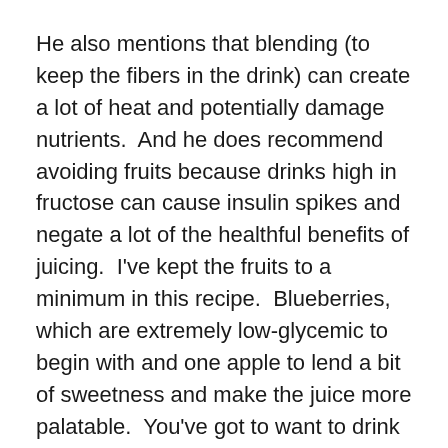He also mentions that blending (to keep the fibers in the drink) can create a lot of heat and potentially damage nutrients.  And he does recommend avoiding fruits because drinks high in fructose can cause insulin spikes and negate a lot of the healthful benefits of juicing.  I've kept the fruits to a minimum in this recipe.  Blueberries, which are extremely low-glycemic to begin with and one apple to lend a bit of sweetness and make the juice more palatable.  You've got to want to drink it, right?
The last point I want to touch on is regarding juicing as a meal replacement.  Most juice detoxes include this aspect, skipping meals for days at a time in favor of juice.  Dr. Mercola explicitly states that juices are not a complete meal and should be